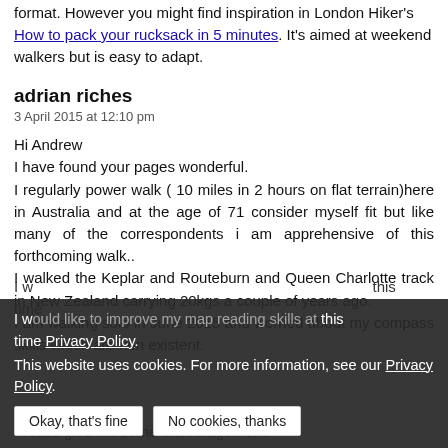format. However you might find inspiration in London Hiker's How to pack your rucksack in 5 minutes. It's aimed at weekend walkers but is easy to adapt.
adrian riches
3 April 2015 at 12:10 pm
Hi Andrew
I have found your pages wonderful.
I regularly power walk ( 10 miles in 2 hours on flat terrain)here in Australia and at the age of 71 consider myself fit but like many of the correspondents i am apprehensive of this forthcoming walk..
I walked the Keplar and Routeburn and Queen Charlotte track in New Zealand carrying 20kgs a couple of years ago.
I am walking solo in June 2015 and worried about my compass skills which are non existent.
I w[...] this
time[...]
Please give me some encouragement.
This website uses cookies. For more information, see our Privacy Policy.